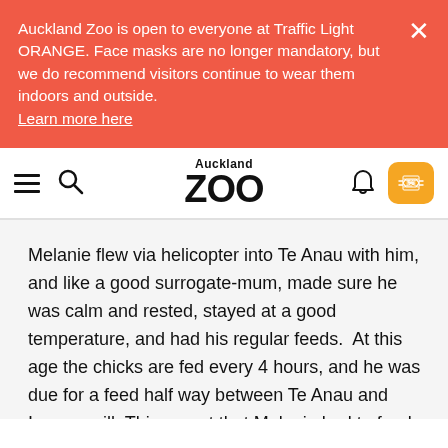Auckland Zoo is open to everyone at Traffic Light ORANGE. Face masks are no longer mandatory, but we do recommend visitors continue to wear them indoors and outside. Learn more here
[Figure (logo): Auckland Zoo logo with hamburger menu, search icon, bell icon, and ticket button in a navigation bar]
Melanie flew via helicopter into Te Anau with him, and like a good surrogate-mum, made sure he was calm and rested, stayed at a good temperature, and had his regular feeds.  At this age the chicks are fed every 4 hours, and he was due for a feed half way between Te Anau and Invercargill. This meant that Melanie had to feed him in the back seat of the car!